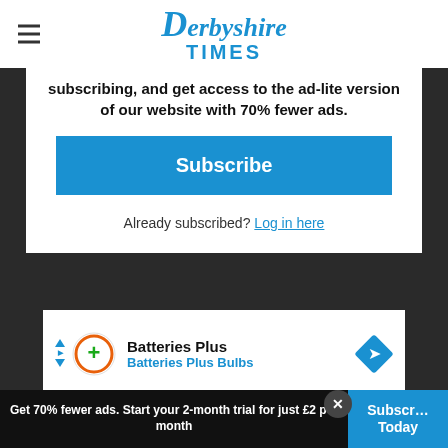Derbyshire Times
subscribing, and get access to the ad-lite version of our website with 70% fewer ads.
Subscribe
Already subscribed? Log in here
[Figure (infographic): Batteries Plus advertisement with orange circular icon, navigation arrow diamond]
[Figure (infographic): Online Ordering Available - Crumbl Cookies - Ashburn advertisement with chef icon]
Get 70% fewer ads. Start your 2-month trial for just £2 per month
Subscribe Today